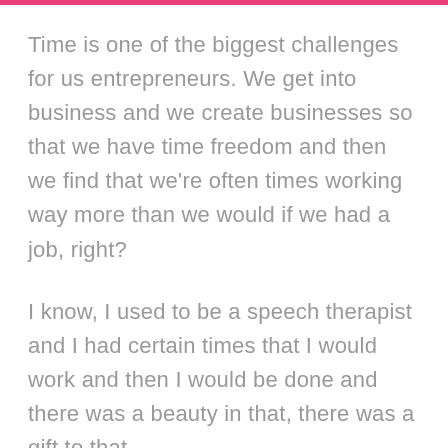Time is one of the biggest challenges for us entrepreneurs. We get into business and we create businesses so that we have time freedom and then we find that we're often times working way more than we would if we had a job, right?
I know, I used to be a speech therapist and I had certain times that I would work and then I would be done and there was a beauty in that, there was a gift to that.